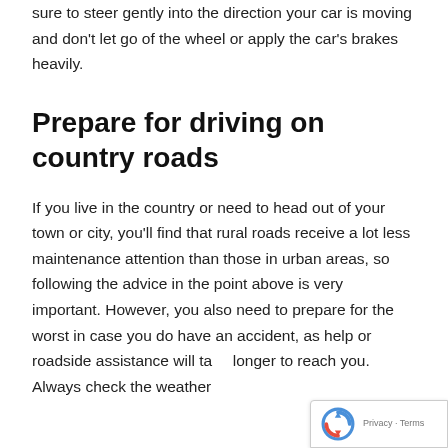sure to steer gently into the direction your car is moving and don't let go of the wheel or apply the car's brakes heavily.
Prepare for driving on country roads
If you live in the country or need to head out of your town or city, you'll find that rural roads receive a lot less maintenance attention than those in urban areas, so following the advice in the point above is very important. However, you also need to prepare for the worst in case you do have an accident, as help or roadside assistance will take longer to reach you. Always check the weather